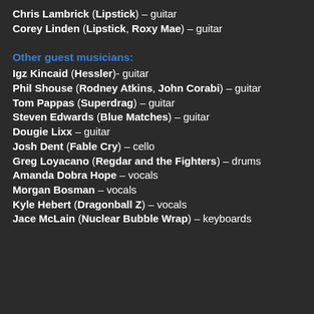Chris Lambrick (Lipstick) – guitar
Corey Linden (Lipstick, Roxy Mae) – guitar
Other guest musicians:
Igz Kincaid (Hessler)- guitar
Phil Shouse (Rodney Atkins, John Corabi) – guitar
Tom Pappas (Superdrag) – guitar
Steven Edwards (Blue Matches) – guitar
Dougie Lixx – guitar
Josh Dent (Fable Cry) – cello
Greg Loyacano (Regdar and the Fighters) – drums
Amanda Dobra Hope – vocals
Morgan Bosman – vocals
Kyle Hebert (Dragonball Z) – vocals
Jace McLain (Nuclear Bubble Wrap) – keyboards